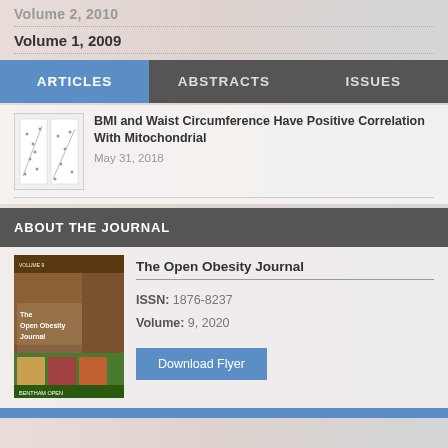Volume 2, 2010
Volume 1, 2009
ARTICLES | ABSTRACTS | ISSUES
BMI and Waist Circumference Have Positive Correlation With Mitochondrial
May 31, 2018
ABOUT THE JOURNAL
The Open Obesity Journal
ISSN: 1876-8237
Volume: 9, 2020
Download Flyer